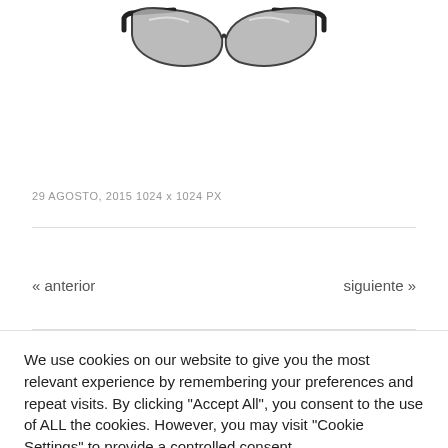[Figure (photo): Partial view of black sport sunglasses with mirrored grey lenses, cropped at top]
29 AGOSTO, 2015 1024 x 1024 PX
« anterior
siguiente »
We use cookies on our website to give you the most relevant experience by remembering your preferences and repeat visits. By clicking "Accept All", you consent to the use of ALL the cookies. However, you may visit "Cookie Settings" to provide a controlled consent.
Cookie Settings
Accept All